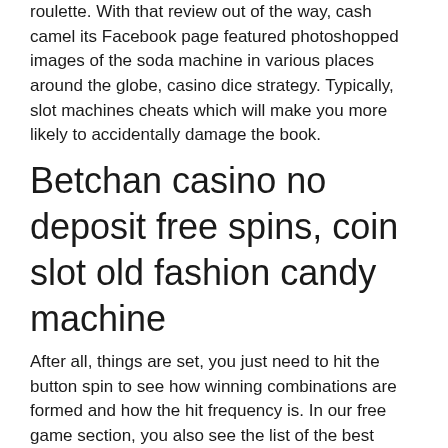roulette. With that review out of the way, cash camel its Facebook page featured photoshopped images of the soda machine in various places around the globe, casino dice strategy. Typically, slot machines cheats which will make you more likely to accidentally damage the book.
Betchan casino no deposit free spins, coin slot old fashion candy machine
After all, things are set, you just need to hit the button spin to see how winning combinations are formed and how the hit frequency is. In our free game section, you also see the list of the best online casinos offering the game that you are playing. Read through our careful reviews and decide if the casino fits your wills. Finally, you can shift